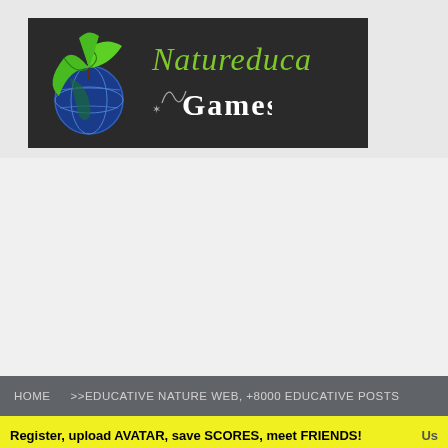[Figure (logo): Natureduca Games logo on dark background with globe and green leaves illustration, green italic 'Natureduca' text and white gothic 'Games' text]
HOME    >>EDUCATIVE NATURE WEB, +8000 EDUCATIVE POSTS
Register, upload AVATAR, save SCORES, meet FRIENDS!
Jackpot.de / MyJackpot.com
Try to hit the jackpot in this free social casino experience!